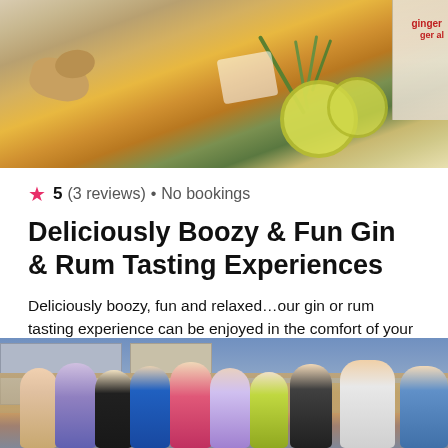[Figure (photo): Top-down photo of a cocktail drink in a glass with rosemary garnish, ginger root, lemon slices, and a ginger ale can in the background on a light surface.]
★ 5 (3 reviews) • No bookings
Deliciously Boozy & Fun Gin & Rum Tasting Experiences
Deliciously boozy, fun and relaxed…our gin or rum tasting experience can be enjoyed in the comfort of your own home, garden, hotel or hired venue.
from £45 / per person
[Figure (photo): Group of people outdoors in a garden/patio area raising drinks and celebrating, smiling, wearing sunglasses on a sunny day.]